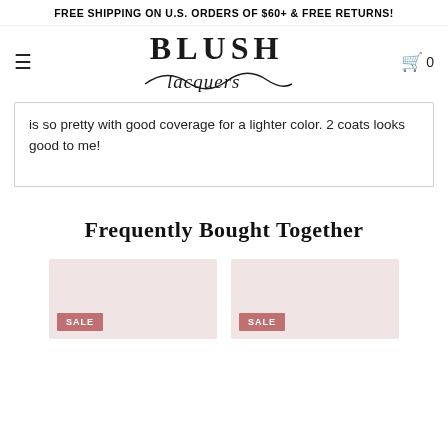FREE SHIPPING ON U.S. ORDERS OF $60+ & FREE RETURNS!
[Figure (logo): Blush Lacquers logo with stylized serif text 'BLUSH' and italic script 'lacquers' below]
is so pretty with good coverage for a lighter color. 2 coats looks good to me!
Frequently Bought Together
[Figure (photo): Product thumbnail with SALE badge, pink/blush background]
[Figure (photo): Product thumbnail with SALE badge, pink/blush background]